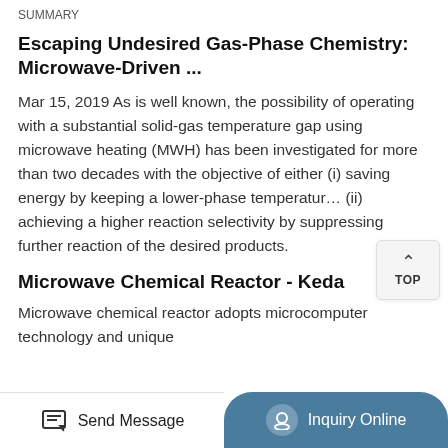SUMMARY
Escaping Undesired Gas-Phase Chemistry: Microwave-Driven ...
Mar 15, 2019 As is well known, the possibility of operating with a substantial solid-gas temperature gap using microwave heating (MWH) has been investigated for more than two decades with the objective of either (i) saving energy by keeping a lower-phase temperature (ii) achieving a higher reaction selectivity by suppressing further reaction of the desired products.
Microwave Chemical Reactor - Keda
Microwave chemical reactor adopts microcomputer technology and unique